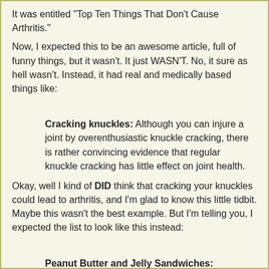It was entitled "Top Ten Things That Don't Cause Arthritis."
Now, I expected this to be an awesome article, full of funny things, but it wasn't. It just WASN'T. No, it sure as hell wasn't. Instead, it had real and medically based things like:
Cracking knuckles: Although you can injure a joint by overenthusiastic knuckle cracking, there is rather convincing evidence that regular knuckle cracking has little effect on joint health.
Okay, well I kind of DID think that cracking your knuckles could lead to arthritis, and I'm glad to know this little tidbit. Maybe this wasn't the best example. But I'm telling you, I expected the list to look like this instead:
Peanut Butter and Jelly Sandwiches: Although there has been some speculation that obsessive eaters of...